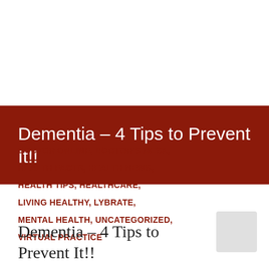Dementia – 4 Tips to Prevent It!!
DOCTOR ONLINE, DOCTOR'S DESK, HEALTH FACTS, HEALTH NEWS, HEALTH TIPS, HEALTHCARE, LIVING HEALTHY, LYBRATE, MENTAL HEALTH, UNCATEGORIZED, VIRTUAL PRACTICE
Dementia – 4 Tips to Prevent It!!